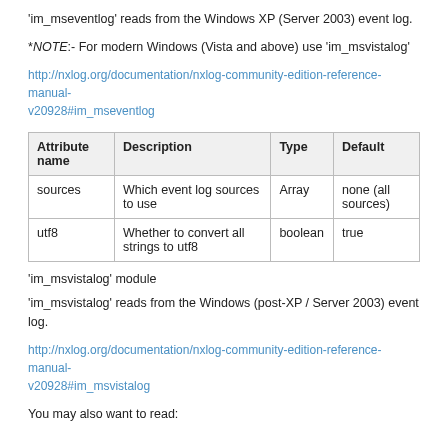'im_mseventlog' reads from the Windows XP (Server 2003) event log.
*NOTE:- For modern Windows (Vista and above) use 'im_msvistalog'
http://nxlog.org/documentation/nxlog-community-edition-reference-manual-v20928#im_mseventlog
| Attribute name | Description | Type | Default |
| --- | --- | --- | --- |
| sources | Which event log sources to use | Array | none (all sources) |
| utf8 | Whether to convert all strings to utf8 | boolean | true |
'im_msvistalog' module
'im_msvistalog' reads from the Windows (post-XP / Server 2003) event log.
http://nxlog.org/documentation/nxlog-community-edition-reference-manual-v20928#im_msvistalog
You may also want to read: